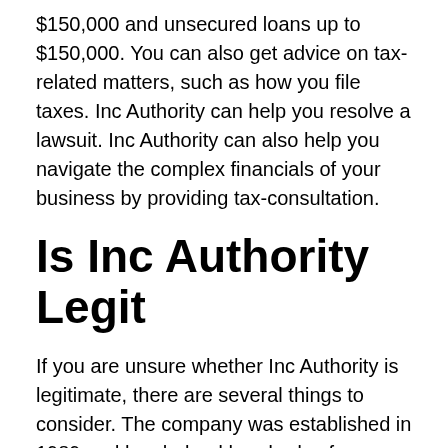$150,000 and unsecured loans up to $150,000. You can also get advice on tax-related matters, such as how you file taxes. Inc Authority can help you resolve a lawsuit. Inc Authority can also help you navigate the complex financials of your business by providing tax-consultation.
Is Inc Authority Legit
If you are unsure whether Inc Authority is legitimate, there are several things to consider. The company was established in 1989 and has helped hundreds of thousands of individuals and businesses establish their companies. Its reputation is solid. It has received high ratings from both financial